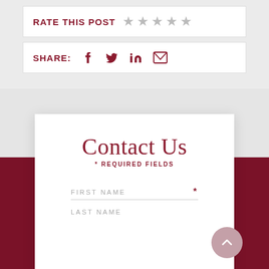RATE THIS POST ☆ ☆ ☆ ☆ ☆
SHARE: f 𝕏 in ✉
Contact Us
* REQUIRED FIELDS
FIRST NAME *
LAST NAME